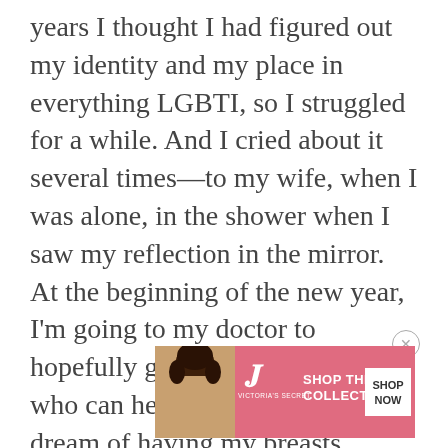years I thought I had figured out my identity and my place in everything LGBTI, so I struggled for a while. And I cried about it several times—to my wife, when I was alone, in the shower when I saw my reflection in the mirror. At the beginning of the new year, I'm going to my doctor to hopefully get referred to someone who can help me realize my dream of having my breasts removed—to make me look less female. For the time being, I don't have any thoughts about getting hormones as those would bring about some male
[Figure (other): Victoria's Secret advertisement banner with a woman with curly hair, VS logo, text 'SHOP THE COLLECTION' and 'SHOP NOW' button]